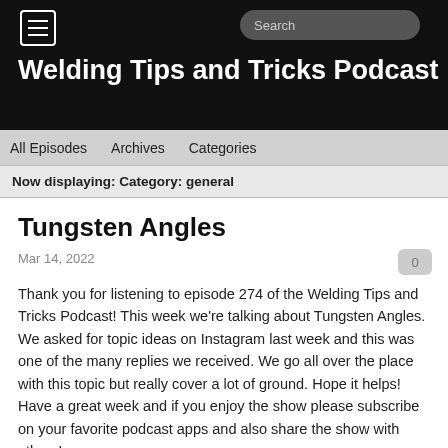Welding Tips and Tricks Podcast
All Episodes   Archives   Categories
Now displaying: Category: general
Tungsten Angles
Mar 14, 2022
Thank you for listening to episode 274 of the Welding Tips and Tricks Podcast!  This week we're talking about Tungsten Angles.  We asked for topic ideas on Instagram last week and this was one of the many replies we received.  We go all over the place with this topic but really cover a lot of ground.  Hope it helps!  Have a great week and if you enjoy the show please subscribe on your favorite podcast apps and also share the show with others!